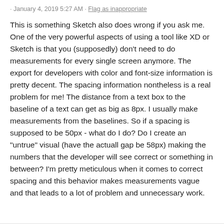· January 4, 2019 5:27 AM · Flag as inappropriate
This is something Sketch also does wrong if you ask me. One of the very powerful aspects of using a tool like XD or Sketch is that you (supposedly) don't need to do measurements for every single screen anymore. The export for developers with color and font-size information is pretty decent. The spacing information nontheless is a real problem for me! The distance from a text box to the baseline of a text can get as big as 8px. I usually make measurements from the baselines. So if a spacing is supposed to be 50px - what do I do? Do I create an "untrue" visual (have the actuall gap be 58px) making the numbers that the developer will see correct or something in between? I'm pretty meticulous when it comes to correct spacing and this behavior makes measurements vague and that leads to a lot of problem and unnecessary work.